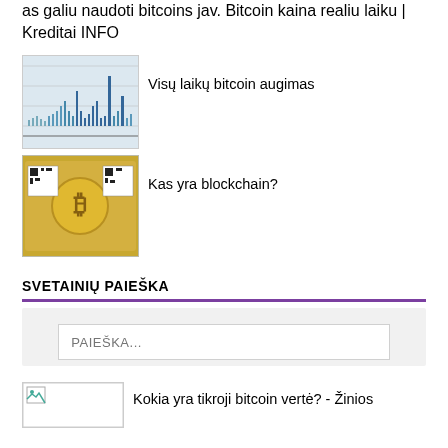as galiu naudoti bitcoins jav. Bitcoin kaina realiu laiku | Kreditai INFO
[Figure (screenshot): Small thumbnail image of a bitcoin price chart showing historical growth]
Visų laikų bitcoin augimas
[Figure (photo): Gold-colored bitcoin physical coin/note image]
Kas yra blockchain?
SVETAINIŲ PAIEŠKA
PAIEŠKA...
[Figure (other): Small broken/placeholder image icon]
Kokia yra tikroji bitcoin vertė? - Žinios